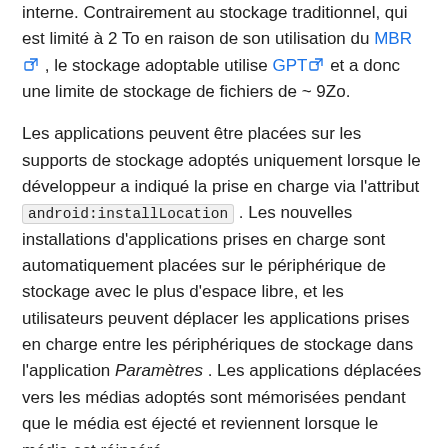interne. Contrairement au stockage traditionnel, qui est limité à 2 To en raison de son utilisation du MBR [external link] , le stockage adoptable utilise GPT [external link] et a donc une limite de stockage de fichiers de ~ 9Zo.
Les applications peuvent être placées sur les supports de stockage adoptés uniquement lorsque le développeur a indiqué la prise en charge via l'attribut android:installLocation . Les nouvelles installations d'applications prises en charge sont automatiquement placées sur le périphérique de stockage avec le plus d'espace libre, et les utilisateurs peuvent déplacer les applications prises en charge entre les périphériques de stockage dans l'application Paramètres . Les applications déplacées vers les médias adoptés sont mémorisées pendant que le média est éjecté et reviennent lorsque le média est réinséré.